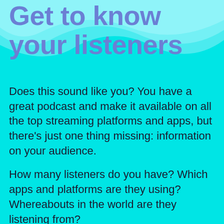Get to know your listeners
Does this sound like you? You have a great podcast and make it available on all the top streaming platforms and apps, but there’s just one thing missing: information on your audience.
How many listeners do you have? Which apps and platforms are they using? Whereabouts in the world are they listening from?
Our stats tell you all of that!